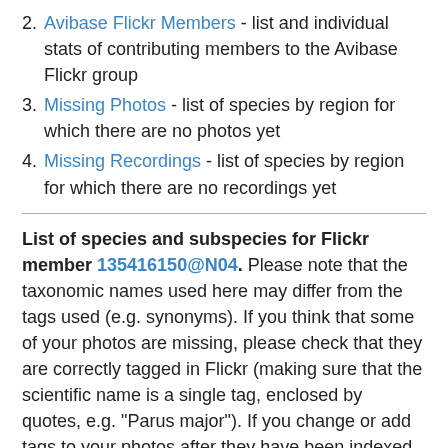2. Avibase Flickr Members - list and individual stats of contributing members to the Avibase Flickr group
3. Missing Photos - list of species by region for which there are no photos yet
4. Missing Recordings - list of species by region for which there are no recordings yet
List of species and subspecies for Flickr member 135416150@N04. Please note that the taxonomic names used here may differ from the tags used (e.g. synonyms). If you think that some of your photos are missing, please check that they are correctly tagged in Flickr (making sure that the scientific name is a single tag, enclosed by quotes, e.g. "Parus major"). If you change or add tags to your photos after they have been indexed, you may need to request a re-indexing of your photostream, which you can do on this page. Also note that new photos may not appear for a period of up to 48h.